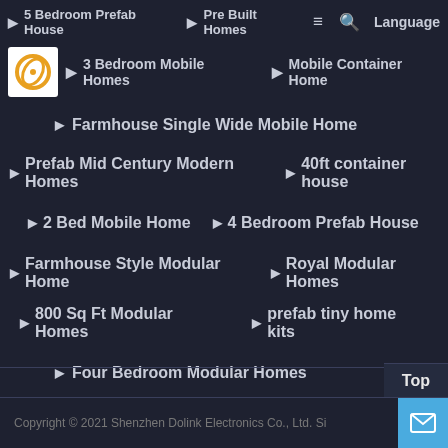5 Bedroom Prefab House | Pre Built Homes
[Figure (logo): Dolink company logo - orange/gold circular design on white background]
3 Bedroom Mobile Homes
Mobile Container Home
Farmhouse Single Wide Mobile Home
Prefab Mid Century Modern Homes
40ft container house
2 Bed Mobile Home
4 Bedroom Prefab House
Farmhouse Style Modular Home
Royal Modular Homes
800 Sq Ft Modular Homes
prefab tiny home kits
Four Bedroom Modular Homes
Copyright © 2021 Shenzhen Dolink Electronics Co., Ltd. Si...